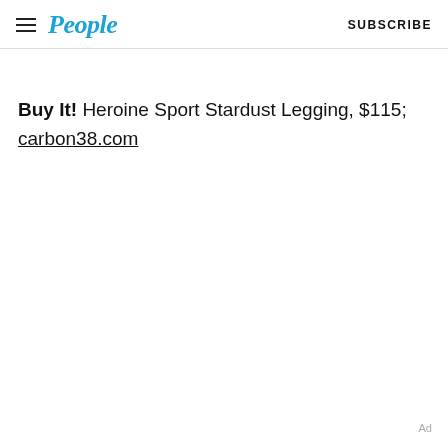People | SUBSCRIBE
Buy It! Heroine Sport Stardust Legging, $115; carbon38.com
Ad